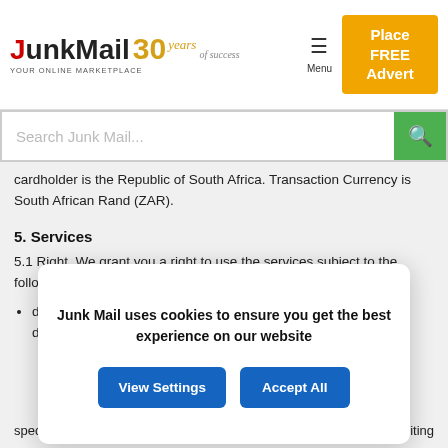[Figure (logo): JunkMail 30 Years logo with tagline YOUR ONLINE MARKETPLACE]
[Figure (screenshot): Menu icon and Place FREE Advert button in header]
[Figure (screenshot): Search Junk Mail... search bar with green search button]
cardholder is the Republic of South Africa. Transaction Currency is South African Rand (ZAR).
5. Services
5.1 Right. We grant you a right to use the services subject to the following limitations:
duration of agreement - you may only use the services for the duration of the agreement.
[Figure (screenshot): Cookie consent modal: Junk Mail uses cookies to ensure you get the best experience on our website, with View Settings and Accept All buttons]
specified purposes tha	unicated to you in writing